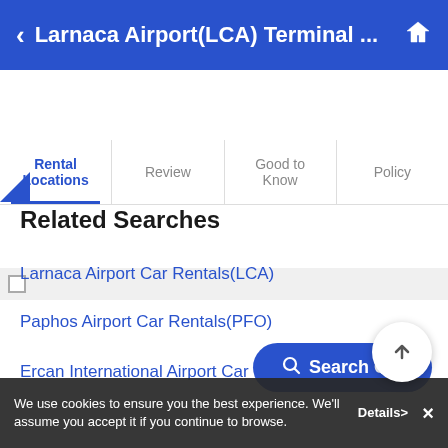Larnaca Airport(LCA) Terminal ...
Rental Locations | Review | Good to Know | Policy
Related Searches
Larnaca Airport Car Rentals(LCA)
Paphos Airport Car Rentals(PFO)
Ercan International Airport Car Rentals(ECN)
Search Car
We use cookies to ensure you the best experience. We'll assume you accept it if you continue to browse. Details>